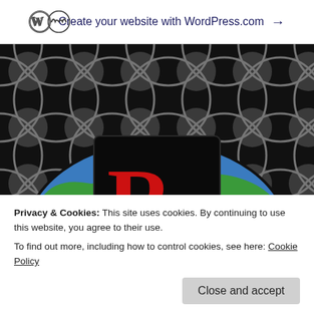Create your website with WordPress.com →
[Figure (illustration): Website screenshot showing Team Rocket blog header with decorative mandala/geometric pattern background in black and gray, with a globe illustration in blue and green behind a Team Rocket logo box (black background with large red R and 'Team Rocket' text in red).]
Privacy & Cookies: This site uses cookies. By continuing to use this website, you agree to their use.
To find out more, including how to control cookies, see here: Cookie Policy
Close and accept